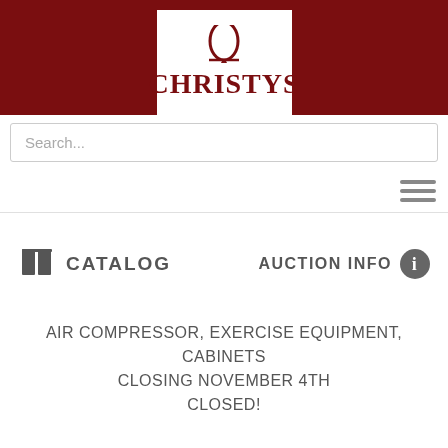[Figure (logo): Christys auction house logo with oval mirror graphic and styled text on dark red background]
Search...
[Figure (other): Hamburger menu icon (three horizontal lines)]
CATALOG
AUCTION INFO
AIR COMPRESSOR, EXERCISE EQUIPMENT, CABINETS CLOSING NOVEMBER 4TH CLOSED!
STARTS ENDING
11/04/2021 9:00 AM EDT